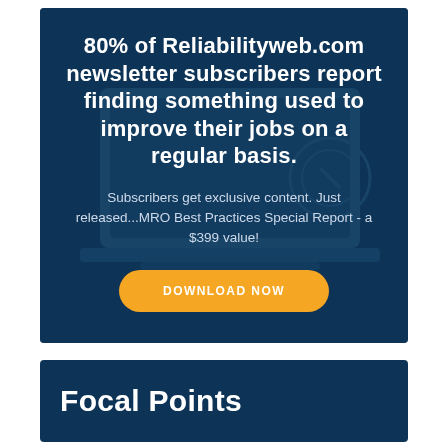[Figure (infographic): Dark blue advertisement banner with white bold headline text, subtitle text, and an orange rounded 'DOWNLOAD NOW' button, set against a dark blue background suggesting a laptop/desk image overlay.]
80% of Reliabilityweb.com newsletter subscribers report finding something used to improve their jobs on a regular basis.
Subscribers get exclusive content. Just released...MRO Best Practices Special Report - a $399 value!
DOWNLOAD NOW
Focal Points